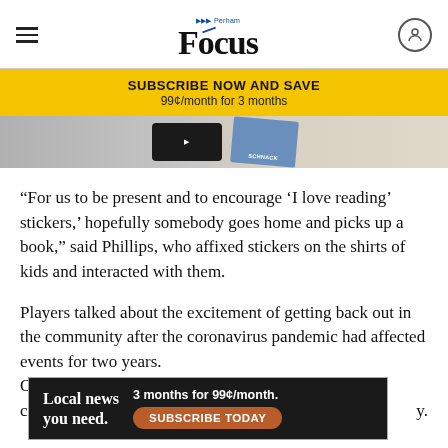Perham Focus
[Figure (infographic): Yellow subscription banner: SUBSCRIBE NOW AND SAVE / 99¢/month for 3 months]
[Figure (photo): Partial image strip showing books including one with author name SCHNACK]
“For us to be present and to encourage ‘I love reading’ stickers,’ hopefully somebody goes home and picks up a book,” said Phillips, who affixed stickers on the shirts of kids and interacted with them.
Players talked about the excitement of getting back out in the community after the coronavirus pandemic had affected events for two years.
O’Co… comm… y.
[Figure (infographic): Ad banner: Local news you need. 3 months for 99¢/month. SUBSCRIBE TODAY]